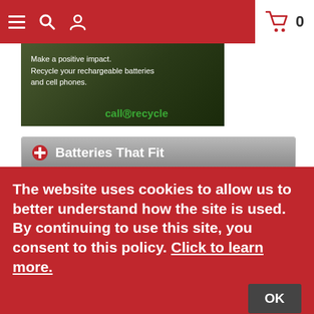Navigation bar with hamburger menu, search, user icon, and shopping cart (0 items)
[Figure (illustration): Call2Recycle banner ad: 'Make a positive impact. Recycle your rechargeable batteries and cell phones.' with call2recycle logo on dark green background]
Batteries That Fit
BATTERIES PLUS CLTXPA1222F
Invacare Jaguar Rabbit
The website uses cookies to allow us to better understand how the site is used. By continuing to use this site, you consent to this policy. Click to learn more.